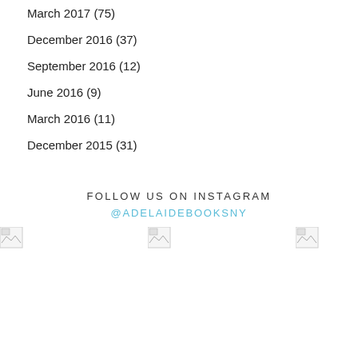March 2017 (75)
December 2016 (37)
September 2016 (12)
June 2016 (9)
March 2016 (11)
December 2015 (31)
FOLLOW US ON INSTAGRAM
@ADELAIDEBOOKSNY
[Figure (photo): Three broken image placeholders in a row representing Instagram photos]